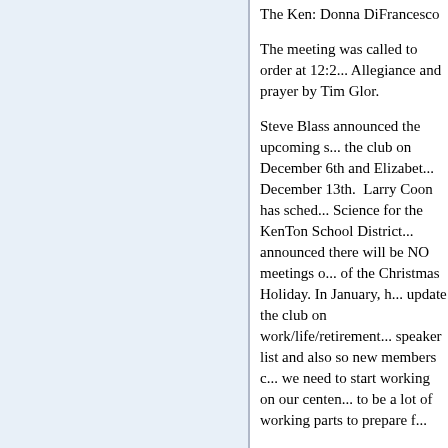The Ken: Donna DiFrancesco
The meeting was called to order at 12:2... Allegiance and prayer by Tim Glor.
Steve Blass announced the upcoming s... the club on December 6th and Elizabet... December 13th. Larry Coon has sched... Science for the KenTon School District... announced there will be NO meetings o... of the Christmas Holiday. In January, h... update the club on work/life/retirement... speaker list and also so new members c... we need to start working on our centen... to be a lot of working parts to prepare f...
There was no speaker for today, so Chu... Their next meeting is Tuesday 12/7 and... received 10 applications totaling $140,... recipients once the decisions have been... Dick picked the 7 of Diamonds.
Last minute Fine Master Brandon aske... Virginia with family, Ron's granddaugh... on a golf course, Cam and his fiancée p...